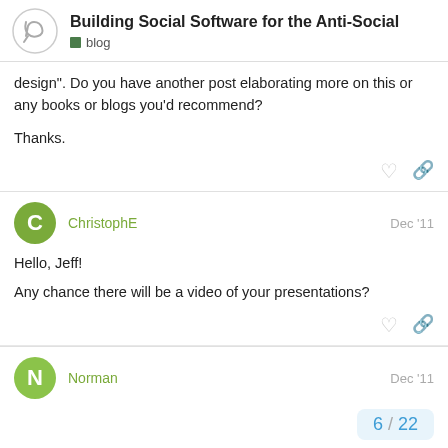Building Social Software for the Anti-Social | blog
design". Do you have another post elaborating more on this or any books or blogs you'd recommend?
Thanks.
ChristophE   Dec '11
Hello, Jeff!
Any chance there will be a video of your presentations?
Norman   Dec '11
6 / 22